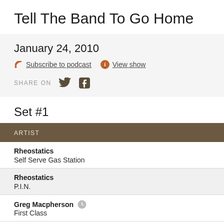Tell The Band To Go Home
January 24, 2010
Subscribe to podcast  View show
SHARE ON
Set #1
| ARTIST |
| --- |
| Rheostatics | Self Serve Gas Station |
| Rheostatics | P.I.N. |
| Greg Macpherson | First Class |